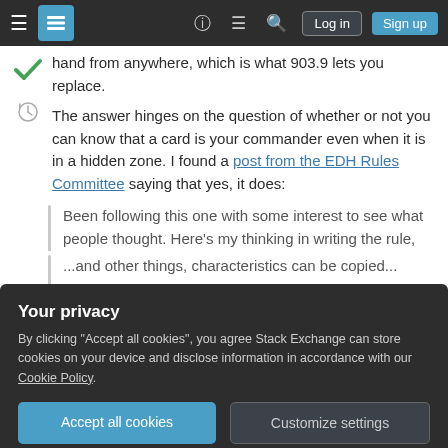Stack Exchange navigation bar with hamburger menu, logo, help, chat, search, Log in, Sign up buttons
hand from anywhere, which is what 903.9 lets you replace.
The answer hinges on the question of whether or not you can know that a card is your commander even when it is in a hidden zone. I found a post from the EDH Rules Committee saying that yes, it does:
Been following this one with some interest to see what people thought. Here's my thinking in writing the rule, and the outcome of discussing it with some of the MTC and...
Your privacy
By clicking "Accept all cookies", you agree Stack Exchange can store cookies on your device and disclose information in accordance with our Cookie Policy.
Accept all cookies   Customize settings
...and other things, characteristics can be copied...